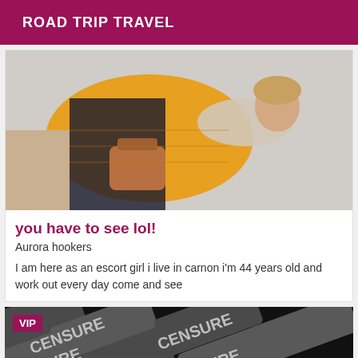ROAD TRIP TRAVEL
[Figure (photo): A woman wearing an orange/yellow puffer jacket and scarf, photographed sideways/rotated, carrying a brown bag]
you have to see lol!
Aurora hookers
I am here as an escort girl i live in carnon i'm 44 years old and work out every day come and see
[Figure (photo): Dark image with repeating censored/censure text pattern, with VIP badge overlay]